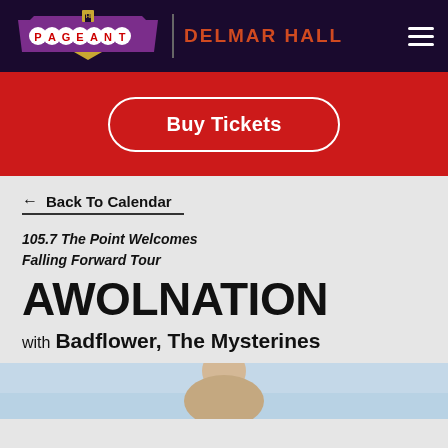THE PAGEANT | DELMAR HALL
Buy Tickets
← Back To Calendar
105.7 The Point Welcomes
Falling Forward Tour
AWOLNATION
with Badflower, The Mysterines
[Figure (photo): Photo of a performer, partially visible at bottom of page]